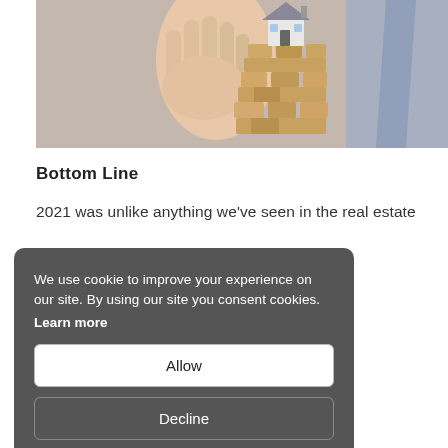[Figure (photo): A person in a business suit placing a small house model on top of a stack of wooden blocks (like Jenga), suggesting real estate risk or market instability.]
Bottom Line
2021 was unlike anything we've seen in the real estate industry, but 2022 probably won't be quite as [overlaid by cookie banner] a home in [overlaid] 2. There are [overlaid] er new [overlaid] slow down, [overlaid] ding crash.
We use cookie to improve your experience on our site. By using our site you consent cookies. Learn more [Allow] [Decline]